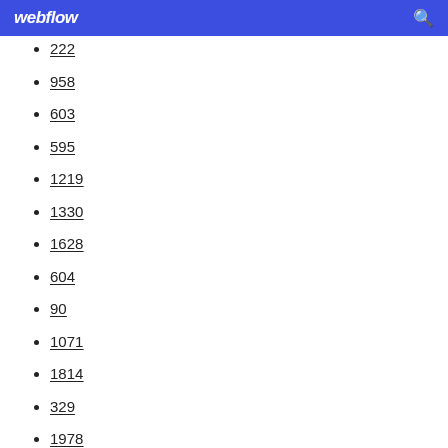webflow
222
958
603
595
1219
1330
1628
604
90
1071
1814
329
1978